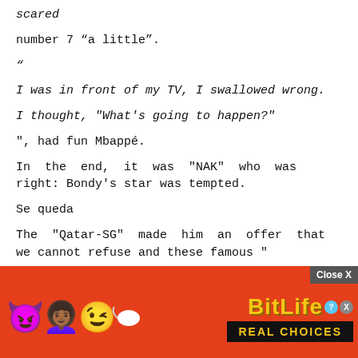scared
number 7 “a little”.
“
I was in front of my TV, I swallowed wrong.
I thought, "What's going to happen?"
", had fun Mbappé.
In the end, it was "NAK" who was right: Bondy's star was tempted.
Se queda
The "Qatar-SG" made him an offer that we cannot refuse and these famous "
new elements
must                                           ad in
[Figure (screenshot): Advertisement banner for BitLife mobile game with colorful emojis (devil, woman, winking face, sperm), BitLife logo in yellow on red background, and 'REAL CHOICES' text in yellow on black background. Close X button in top right corner.]